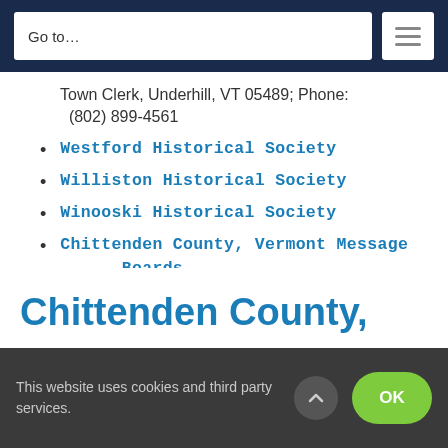Go to...
Town Clerk, Underhill, VT 05489; Phone: (802) 899-4561
Westford Historical Society
Williston Historical Society
Winooski Historical Society
Chittenden County, Vermont Message Boards
Chittenden County,
This website uses cookies and third party services.